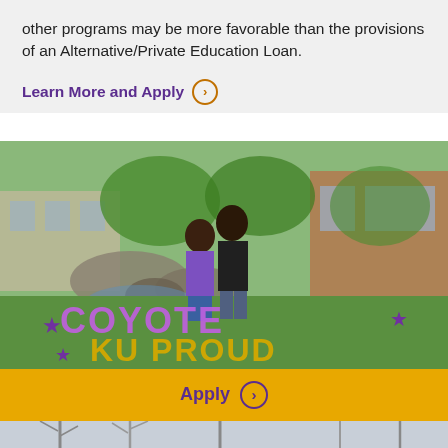other programs may be more favorable than the provisions of an Alternative/Private Education Loan.
Learn More and Apply ›
[Figure (photo): Two students standing in front of a 'Coyote KU Proud' sign on a college campus with greenery and brick buildings in the background. The text on the sign reads 'COYOTE KU PROUD' in large purple and gold glitter letters with stars.]
Apply ›
[Figure (photo): Partial view of a campus outdoor scene with bare trees in winter, cropped at bottom of page.]